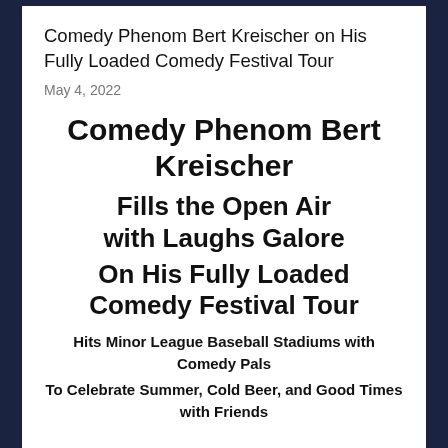Comedy Phenom Bert Kreischer on His Fully Loaded Comedy Festival Tour
May 4, 2022
Comedy Phenom Bert Kreischer
Fills the Open Air with Laughs Galore
On His Fully Loaded Comedy Festival Tour
Hits Minor League Baseball Stadiums with Comedy Pals
To Celebrate Summer, Cold Beer, and Good Times with Friends